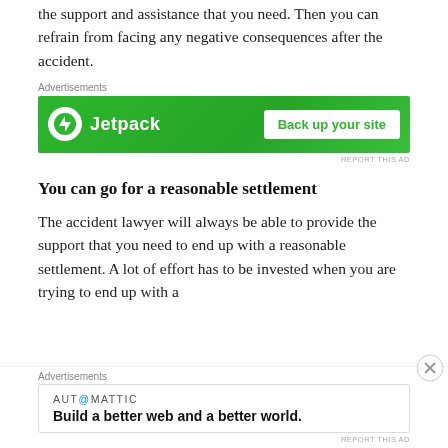the support and assistance that you need. Then you can refrain from facing any negative consequences after the accident.
[Figure (screenshot): Jetpack advertisement banner with green background showing Jetpack logo and 'Back up your site' button]
You can go for a reasonable settlement
The accident lawyer will always be able to provide the support that you need to end up with a reasonable settlement. A lot of effort has to be invested when you are trying to end up with a reasonable settlement. However, you can expect
[Figure (screenshot): Automattic advertisement showing 'Build a better web and a better world.' tagline]